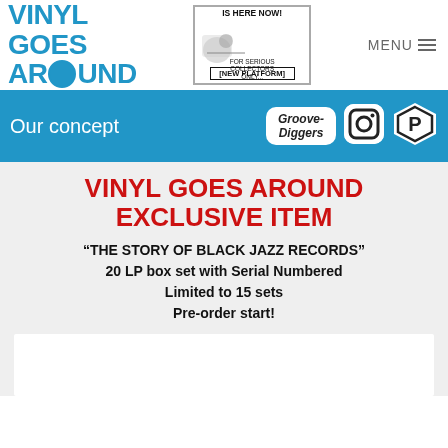VINYL GOES AROUND
[Figure (illustration): Advertisement box: 'IS HERE NOW! [NEW PLATFORM] FOR SERIOUS COLLECTORS ONLY...' with illustrated figure of musicians]
MENU
Our concept
[Figure (logo): Groove-Diggers badge logo]
[Figure (logo): Instagram icon]
[Figure (logo): P logo icon]
VINYL GOES AROUND EXCLUSIVE ITEM
“THE STORY OF BLACK JAZZ RECORDS” 20 LP box set with Serial Numbered Limited to 15 sets Pre-order start!